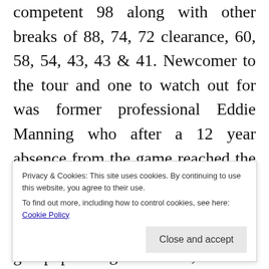Shanaze posted the highest break on the day, a competent 98 along with other breaks of 88, 74, 72 clearance, 60, 58, 54, 43, 43 & 41. Newcomer to the tour and one to watch out for was former professional Eddie Manning who after a 12 year absence from the game reached the semi-finals posting breaks of 91, 90, 50, 49, 44 & 41. Other top players that made it through to the knock-out stages where; Steve Brookshaw, (Plymouth), Jason Simmons, (Truro), Kurtis Weaver and Paul
Privacy & Cookies: This site uses cookies. By continuing to use this website, you agree to their use. To find out more, including how to control cookies, see here: Cookie Policy
closely contested, with several group positions